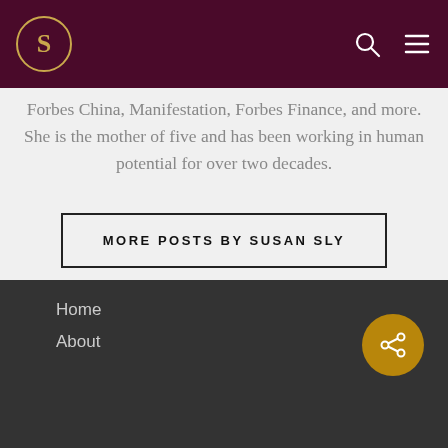S (logo) [search icon] [menu icon]
Forbes China, Manifest, Forbes Finance, and more. She is the mother of five and has been working in human potential for over two decades.
MORE POSTS BY SUSAN SLY
Home
About